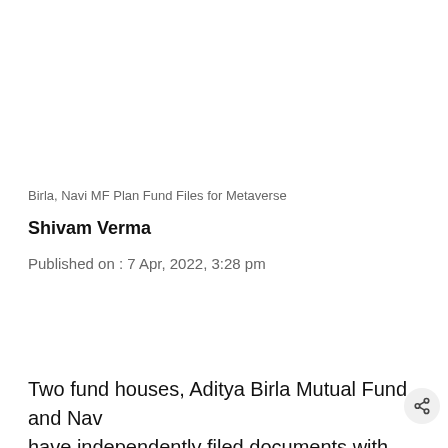Birla, Navi MF Plan Fund Files for Metaverse
Shivam Verma
Published on : 7 Apr, 2022, 3:28 pm
Two fund houses, Aditya Birla Mutual Fund and Navi have independently filed documents with SEBI to start